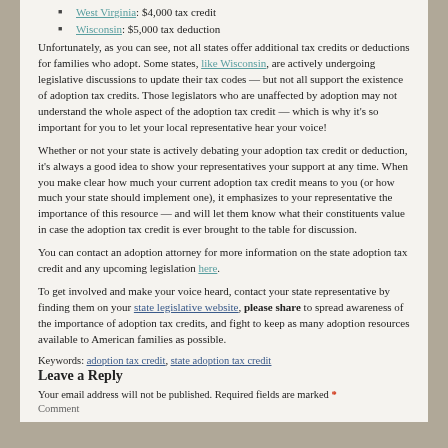West Virginia: $4,000 tax credit
Wisconsin: $5,000 tax deduction
Unfortunately, as you can see, not all states offer additional tax credits or deductions for families who adopt. Some states, like Wisconsin, are actively undergoing legislative discussions to update their tax codes — but not all support the existence of adoption tax credits. Those legislators who are unaffected by adoption may not understand the whole aspect of the adoption tax credit — which is why it's so important for you to let your local representative hear your voice!
Whether or not your state is actively debating your adoption tax credit or deduction, it's always a good idea to show your representatives your support at any time. When you make clear how much your current adoption tax credit means to you (or how much your state should implement one), it emphasizes to your representative the importance of this resource — and will let them know what their constituents value in case the adoption tax credit is ever brought to the table for discussion.
You can contact an adoption attorney for more information on the state adoption tax credit and any upcoming legislation here.
To get involved and make your voice heard, contact your state representative by finding them on your state legislative website, please share to spread awareness of the importance of adoption tax credits, and fight to keep as many adoption resources available to American families as possible.
Keywords: adoption tax credit, state adoption tax credit
Leave a Reply
Your email address will not be published. Required fields are marked *
Comment